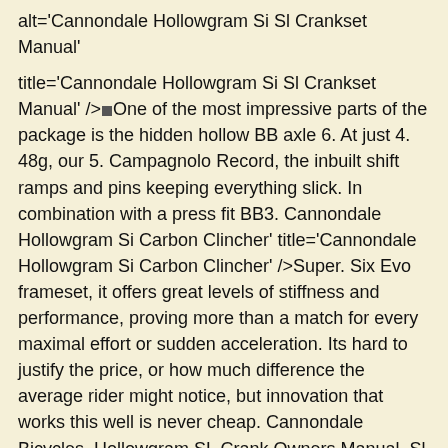alt='Cannondale Hollowgram Si Sl Crankset Manual'

title='Cannondale Hollowgram Si Sl Crankset Manual' />▪One of the most impressive parts of the package is the hidden hollow BB axle 6. At just 4. 48g, our 5. Campagnolo Record, the inbuilt shift ramps and pins keeping everything slick. In combination with a press fit BB3. Cannondale Hollowgram Si Carbon Clincher' title='Cannondale Hollowgram Si Carbon Clincher' />Super. Six Evo frameset, it offers great levels of stiffness and performance, proving more than a match for every maximal effort or sudden acceleration. Its hard to justify the price, or how much difference the average rider might notice, but innovation that works this well is never cheap. Cannondale Bicycles. Hollowgram SL Crank Owners Manual. Sl Hollowgram Crankset Bottom Bracket Owners Manual Supplement View PDF. Torrent Avs Video Editor Crack Code. Cannondale Hollowgram SL MTB Crankset Parts List and Exploded Diagram. Cannondale Sl Hollowgram SL Lock Ring Tool, KT012 QC070 Cannondale Sl BB30 Crank Axle. Cycling Plus is the manual for the modern road cyclist. Cannondale Si chainset review 734.
Cannondale SiSl 2 Hollowgram chainsetAuthor Warren Rossiterhttp